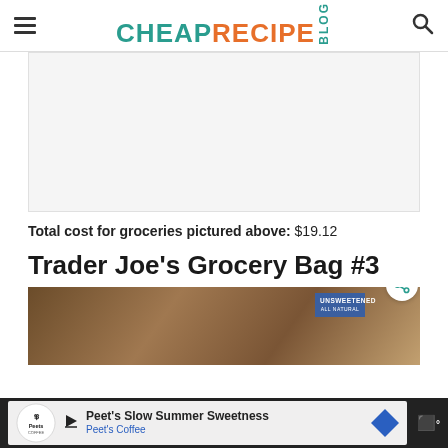CHEAP RECIPE BLOG
[Figure (other): Advertisement placeholder area (light gray box)]
Total cost for groceries pictured above: $19.12
Trader Joe's Grocery Bag #3
[Figure (photo): Photo of grocery items on a wooden surface, including a blue package labeled UNSWEETENED ALL NATURAL]
[Figure (other): Bottom ad bar: Peet's Coffee - Peet's Slow Summer Sweetness advertisement]